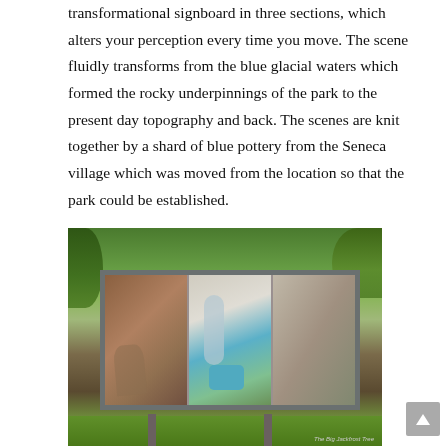transformational signboard in three sections, which alters your perception every time you move. The scene fluidly transforms from the blue glacial waters which formed the rocky underpinnings of the park to the present day topography and back. The scenes are knit together by a shard of blue pottery from the Seneca village which was moved from the location so that the park could be established.
[Figure (photo): Outdoor photograph of a large three-panel transformational signboard mounted on metal legs in a park setting with green trees and grass in the background. The signboard displays three distinct scenes that blend together, featuring rocky terrain, glacial blue water elements, and landscape imagery.]
The Big Jackfrost Tree